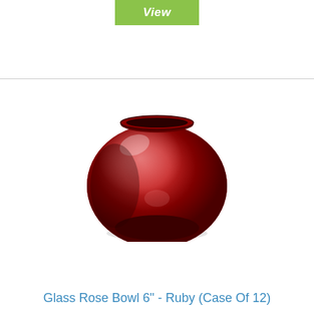[Figure (other): Green button labeled 'View' in italic white text]
[Figure (photo): A round red glass rose bowl, glossy ruby colored spherical vase with wide opening at the top]
Glass Rose Bowl 6" - Ruby (Case Of 12)